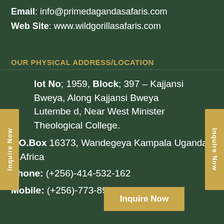Email: info@primedagandasafaris.com
Web Site: www.wildgorillasafaris.com
OUR PHYSICAL ADDRESS/LOCATION
Lot No; 1959, Block; 397 – Kajjansi Bweya, Along Kajjansi Bweya Lutembod, Near West Minister Theological College.
P.O.Box 16373, Wandegeya Kampala Uganda E.Africa
Phone: (+256)-414-532-162
Mobile: (+256)-773-891/(+256)702-123